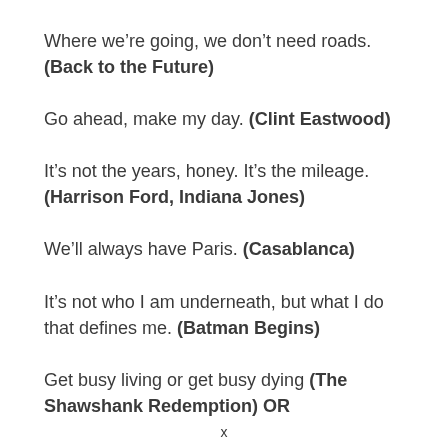Where we're going, we don't need roads. (Back to the Future)
Go ahead, make my day. (Clint Eastwood)
It's not the years, honey. It's the mileage. (Harrison Ford, Indiana Jones)
We'll always have Paris. (Casablanca)
It's not who I am underneath, but what I do that defines me. (Batman Begins)
Get busy living or get busy dying (The Shawshank Redemption) OR
x